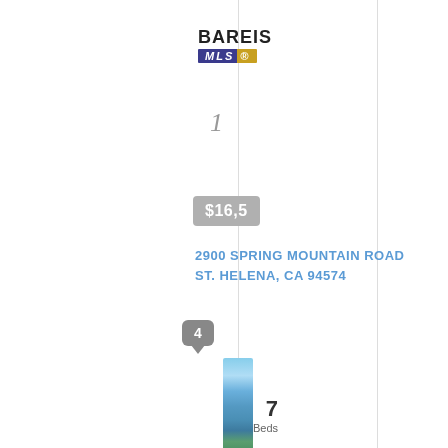[Figure (logo): BAREIS MLS logo with blue and gold MLS text]
1
$16,5
2900 SPRING MOUNTAIN ROAD
ST. HELENA, CA 94574
[Figure (other): Map pin badge with number 4]
[Figure (photo): Vertical photo strip showing property exterior with sky, trees, and landscaping]
7
Beds